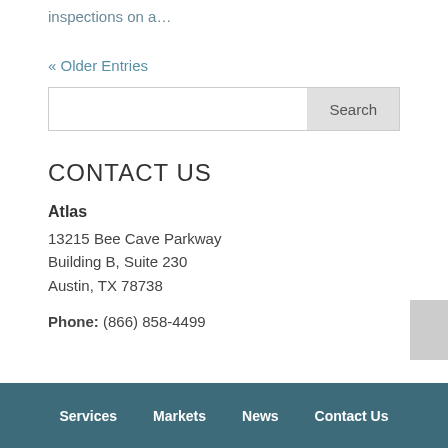inspections on a…
« Older Entries
CONTACT US
Atlas
13215 Bee Cave Parkway
Building B, Suite 230
Austin, TX 78738
Phone: (866) 858-4499
Services    Markets    News    Contact Us